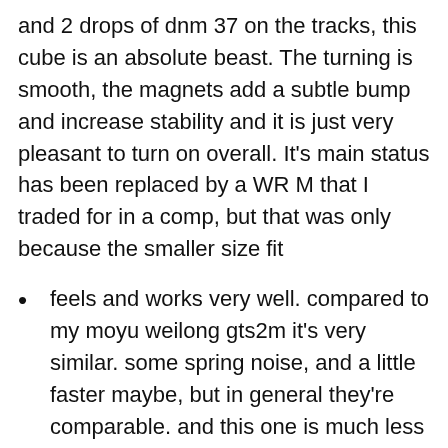and 2 drops of dnm 37 on the tracks, this cube is an absolute beast. The turning is smooth, the magnets add a subtle bump and increase stability and it is just very pleasant to turn on overall. It's main status has been replaced by a WR M that I traded for in a comp, but that was only because the smaller size fit
feels and works very well. compared to my moyu weilong gts2m it's very similar. some spring noise, and a little faster maybe, but in general they're comparable. and this one is much less money.
Solving puzzles and brain teasers are important activities to teach kids to